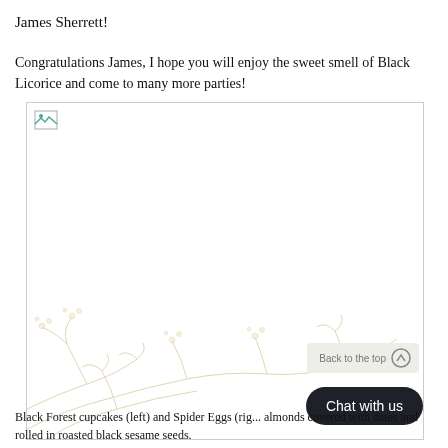James Sherrett!
Congratulations James, I hope you will enjoy the sweet smell of Black Licorice and come to many more parties!
[Figure (photo): A photo with a broken image icon in the top-left corner. The lower portion shows a decorative botanical illustration of flowering branches in light beige/tan tones. A 'Back to the top' button with an up-arrow circle and a 'Chat with us' dark rounded button overlay the bottom-right area of the image.]
Black Forest cupcakes (left) and Spider Eggs (rig... almonds covered with dates and rolled in roasted black sesame seeds.